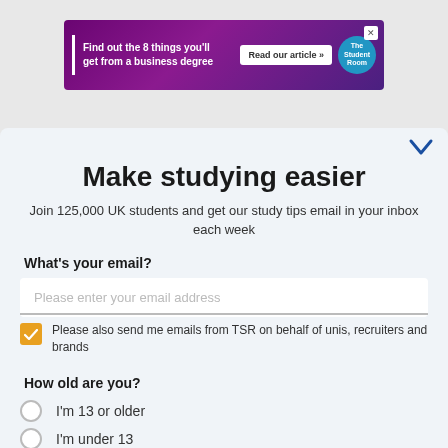[Figure (screenshot): Advertisement banner for The Student Room: 'Find out the 8 things you'll get from a business degree' with 'Read our article »' button and TSR logo]
[Figure (screenshot): The Student Room navigation bar in teal/blue with logo, icons, and yellow button]
Make studying easier
Join 125,000 UK students and get our study tips email in your inbox each week
What's your email?
Please enter your email address
Please also send me emails from TSR on behalf of unis, recruiters and brands
How old are you?
I'm 13 or older
I'm under 13